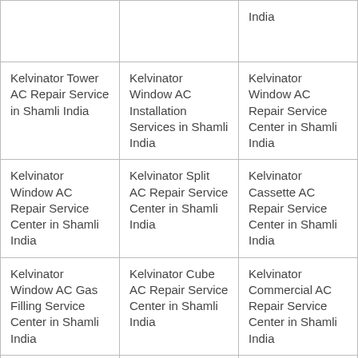|  |  | India |
| Kelvinator Tower AC Repair Service in Shamli India | Kelvinator Window AC Installation Services in Shamli India | Kelvinator Window AC Repair Service Center in Shamli India |
| Kelvinator Window AC Repair Service Center in Shamli India | Kelvinator Split AC Repair Service Center in Shamli India | Kelvinator Cassette AC Repair Service Center in Shamli India |
| Kelvinator Window AC Gas Filling Service Center in Shamli India | Kelvinator Cube AC Repair Service Center in Shamli India | Kelvinator Commercial AC Repair Service Center in Shamli India |
| Kelvinator Duct able Window AC | Kelvinator Tower AC Repair Service | Kelvinator Window AC |